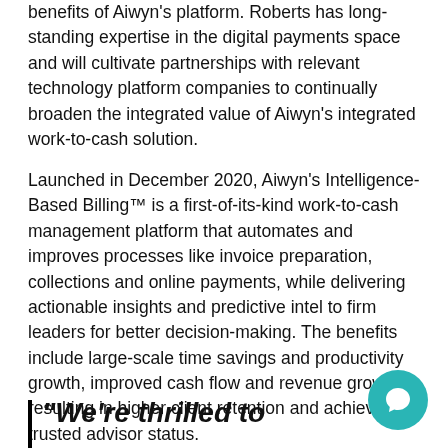benefits of Aiwyn's platform. Roberts has long-standing expertise in the digital payments space and will cultivate partnerships with relevant technology platform companies to continually broaden the integrated value of Aiwyn's integrated work-to-cash solution.
Launched in December 2020, Aiwyn's Intelligence-Based Billing™ is a first-of-its-kind work-to-cash management platform that automates and improves processes like invoice preparation, collections and online payments, while delivering actionable insights and predictive intel to firm leaders for better decision-making. The benefits include large-scale time savings and productivity growth, improved cash flow and revenue growth resulting in higher client retention and achieving trusted advisor status.
"We're thrilled to